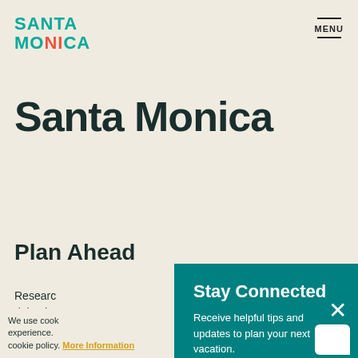SANTA MONICA — MENU
Santa Monica
Plan Ahead
Research... doing be... check th... find out i...
Stay Connected
Receive helpful tips and updates to plan your next vacation.
SIGN UP
We use cook... experience. cookie policy. More Information